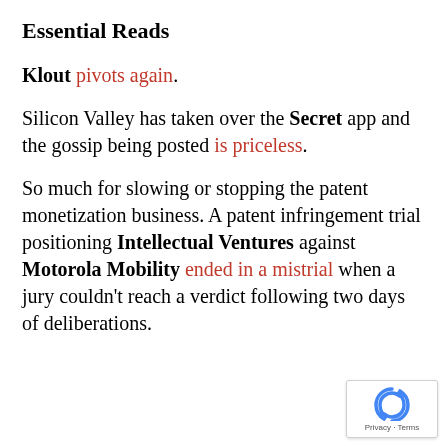Essential Reads
Klout pivots again.
Silicon Valley has taken over the Secret app and the gossip being posted is priceless.
So much for slowing or stopping the patent monetization business. A patent infringement trial positioning Intellectual Ventures against Motorola Mobility ended in a mistrial when a jury couldn’t reach a verdict following two days of deliberations.